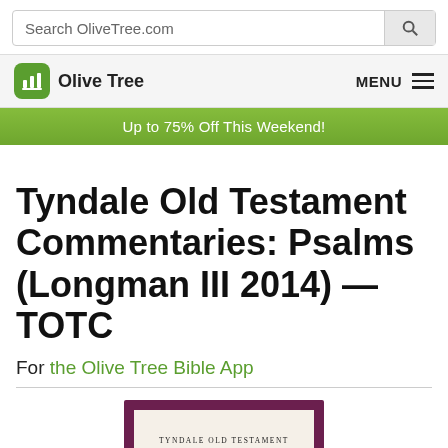Search OliveTree.com
Olive Tree  MENU
Up to 75% Off This Weekend!
Tyndale Old Testament Commentaries: Psalms (Longman III 2014) — TOTC
For the Olive Tree Bible App
[Figure (photo): Book cover of Tyndale Old Testament Commentaries (TOTC) with dark maroon border and cream inner panel showing series title and TOTC badge]